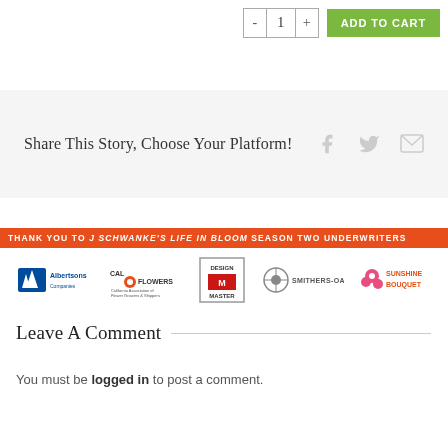[Figure (screenshot): Add to cart quantity selector with minus, 1, plus buttons and green ADD TO CART button]
Share This Story, Choose Your Platform!
[Figure (infographic): Social share icons: Facebook, Twitter, Email]
THANK YOU TO J SCHWANKE'S LIFE IN BLOOM SEASON TWO UNDERWRITERS
[Figure (logo): Sponsor logos: Albertsons Companies, Cal Flowers, Design Master, Smithers-Oasis, Sunshine Bouquet]
Leave A Comment
You must be logged in to post a comment.